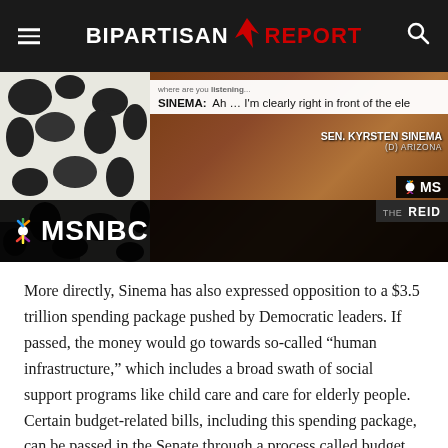BIPARTISAN REPORT
[Figure (screenshot): MSNBC news screenshot showing Sen. Kyrsten Sinema (D) Arizona on screen. Caption reads: 'SINEMA: Ah ... I'm clearly right in front of the ele'. MSNBC logo visible with peacock symbol. Lower right shows 'REID' show banner.]
More directly, Sinema has also expressed opposition to a $3.5 trillion spending package pushed by Democratic leaders. If passed, the money would go towards so-called “human infrastructure,” which includes a broad swath of social support programs like child care and care for elderly people. Certain budget-related bills, including this spending package, can be passed in the Senate through a process called budget reconciliation, which only requires a simple